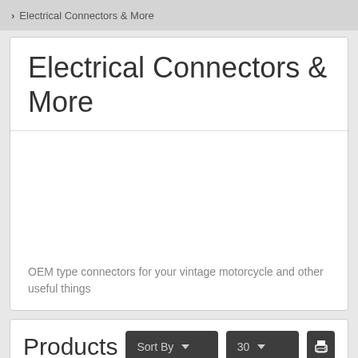> Electrical Connectors & More
Electrical Connectors & More
OEM type connectors for your vintage motorcycle and other useful things
Products
Sort By  30  [print] [grid view] [list view]  Pagination: 1 2 >